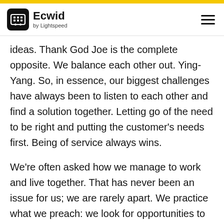Ecwid by Lightspeed
ideas. Thank God Joe is the complete opposite. We balance each other out. Ying-Yang. So, in essence, our biggest challenges have always been to listen to each other and find a solution together. Letting go of the need to be right and putting the customer’s needs first. Being of service always wins.
We’re often asked how we manage to work and live together. That has never been an issue for us; we are rarely apart. We practice what we preach: we look for opportunities to laugh